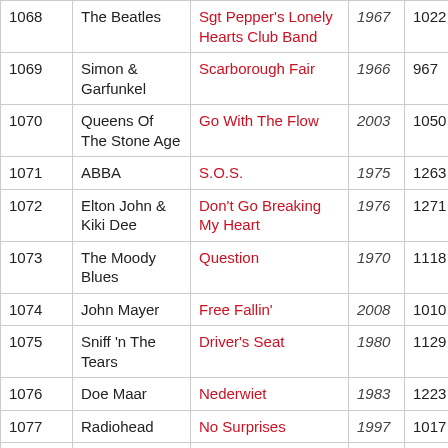| # | Artist | Song | Year | Votes |
| --- | --- | --- | --- | --- |
| 1068 | The Beatles | Sgt Pepper's Lonely Hearts Club Band | 1967 | 1022 |
| 1069 | Simon & Garfunkel | Scarborough Fair | 1966 | 967 |
| 1070 | Queens Of The Stone Age | Go With The Flow | 2003 | 1050 |
| 1071 | ABBA | S.O.S. | 1975 | 1263 |
| 1072 | Elton John & Kiki Dee | Don't Go Breaking My Heart | 1976 | 1271 |
| 1073 | The Moody Blues | Question | 1970 | 1118 |
| 1074 | John Mayer | Free Fallin' | 2008 | 1010 |
| 1075 | Sniff 'n The Tears | Driver's Seat | 1980 | 1129 |
| 1076 | Doe Maar | Nederwiet | 1983 | 1223 |
| 1077 | Radiohead | No Surprises | 1997 | 1017 |
| 1078 | Bon Jovi | Wanted Dead Or Alive | 1987 | 1143 |
| 1079 | Carpenters | Top Of The World | 1973 | 1041 |
| 1080 | Michel Sardou | Les Lacs Du Connemara | 1982 | 1399 |